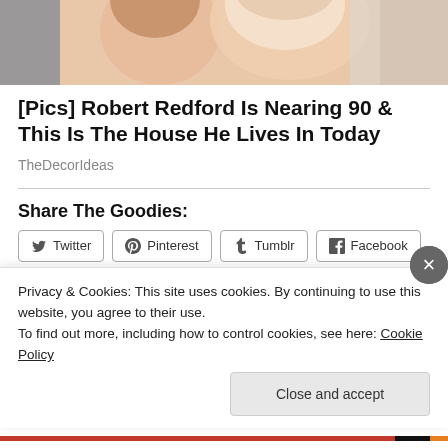[Figure (photo): Cropped photo of two smiling people, partially visible at top of page]
[Pics] Robert Redford Is Nearing 90 & This Is The House He Lives In Today
TheDecorIdeas
Share The Goodies:
[Figure (screenshot): Social share buttons: Twitter, Pinterest, Tumblr, Facebook; Like button with user avatars; partial text '4 bloggers like this']
Privacy & Cookies: This site uses cookies. By continuing to use this website, you agree to their use.
To find out more, including how to control cookies, see here: Cookie Policy
Close and accept